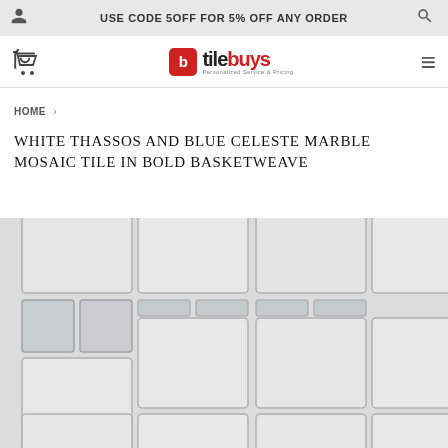USE CODE 5OFF FOR 5% OFF ANY ORDER
[Figure (logo): TileBuys logo with red speech bubble icon and text 'tilebuys - Personalized Service & Pricing']
HOME >
WHITE THASSOS AND BLUE CELESTE MARBLE MOSAIC TILE IN BOLD BASKETWEAVE
[Figure (photo): Product photo showing white marble mosaic tiles in a bold basketweave pattern with alternating rectangular and square tiles, light gray grout lines visible]